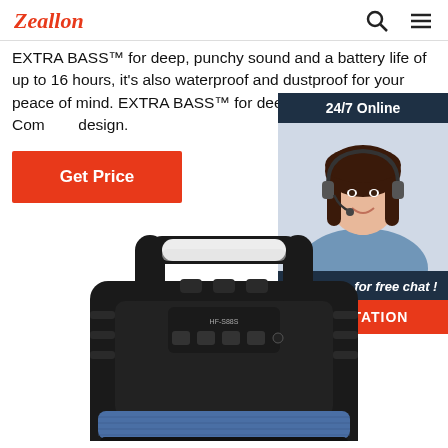Zeallon
EXTRA BASS™ for deep, punchy sound and a battery life of up to 16 hours, it's also waterproof and dustproof for your peace of mind. EXTRA BASS™ for deep, punchy sound. Compact design.
[Figure (infographic): 24/7 Online chat widget with photo of smiling woman with headset, 'Click here for free chat!' text, and orange QUOTATION button]
Get Price
[Figure (photo): Black portable Bluetooth speaker with handle on top, model HF-S88S, blue mesh grille at bottom, viewed from above/front]